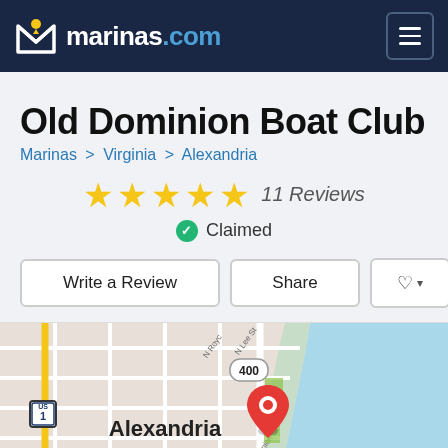marinas.com
Old Dominion Boat Club
Marinas > Virginia > Alexandria
★★★★★ 11 Reviews
✓ Claimed
Write a Review | Share | ♡▾
[Figure (map): Google Maps view showing Alexandria, Virginia near the waterfront. Street grid visible with labels for N Royal St, N Lee St, S Union St, N Paca route 400, US-1, route 236. A red map pin marker placed near the waterfront. Water (Potomac River) visible on the right in light blue.]